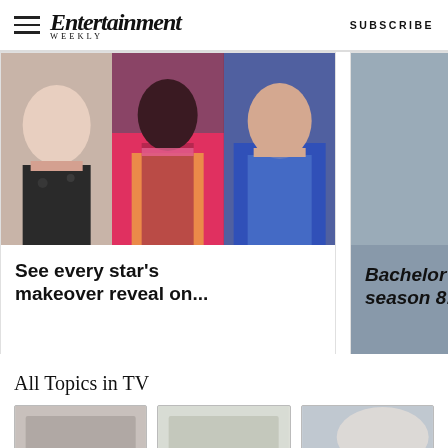Entertainment Weekly — SUBSCRIBE
[Figure (photo): Three women shown side by side in colorful outfits — makeover reveal photo collage]
See every star's makeover reveal on...
[Figure (photo): Man smiling with arrow navigation button overlay — Bachelor in Paradise season 8 cast photo]
Bachelor in Paradise season 8: Meet t
All Topics in TV
[Figure (photo): Three thumbnail topic cards at bottom]